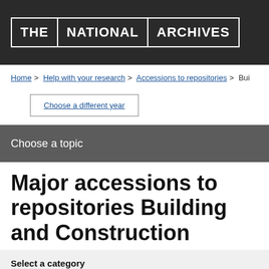[Figure (logo): The National Archives logo — white text on dark background with grid of bordered cells reading THE | NATIONAL | ARCHIVES]
Home > Help with your research > Accessions to repositories > Bui...
Choose a different year
Choose a topic
Major accessions to repositories Building and Construction
Select a category
Local
National
Special
University